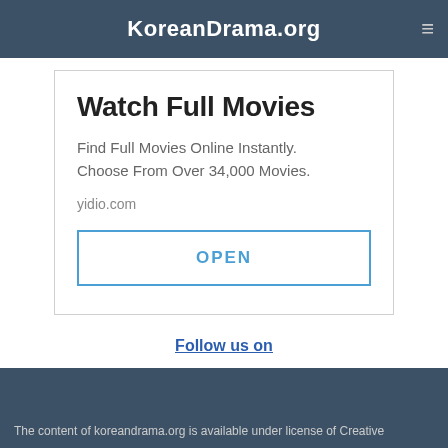KoreanDrama.org
Watch Full Movies
Find Full Movies Online Instantly. Choose From Over 34,000 Movies.
yidio.com
OPEN
Follow us on
[Figure (logo): Facebook and Twitter social media icons]
The content of koreandrama.org is available under license of Creative